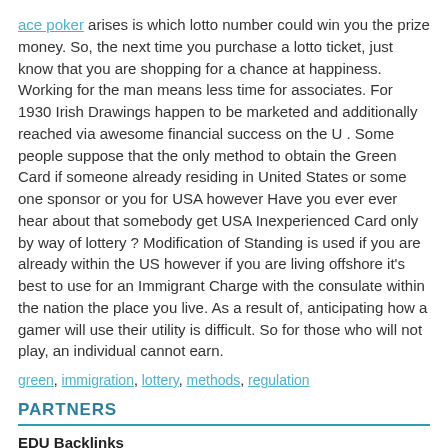ace poker arises is which lotto number could win you the prize money. So, the next time you purchase a lotto ticket, just know that you are shopping for a chance at happiness. Working for the man means less time for associates. For 1930 Irish Drawings happen to be marketed and additionally reached via awesome financial success on the U . Some people suppose that the only method to obtain the Green Card if someone already residing in United States or some one sponsor or you for USA however Have you ever ever hear about that somebody get USA Inexperienced Card only by way of lottery ? Modification of Standing is used if you are already within the US however if you are living offshore it's best to use for an Immigrant Charge with the consulate within the nation the place you live. As a result of, anticipating how a gamer will use their utility is difficult. So for those who will not play, an individual cannot earn.
green, immigration, lottery, methods, regulation
PARTNERS
EDU Backlinks
Buy EDU GOV backlinks cheap from high authority (DA-PA) websites
www.724ws.net
ace poker